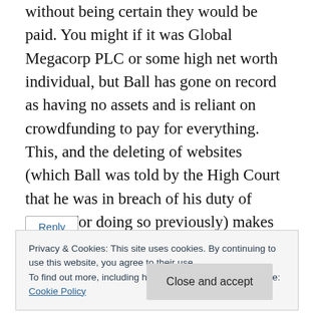without being certain they would be paid. You might if it was Global Megacorp PLC or some high net worth individual, but Ball has gone on record as having no assets and is reliant on crowdfunding to pay for everything. This, and the deleting of websites (which Ball was told by the High Court that he was in breach of his duty of candor for doing so previously) makes me wonder just how true his claim is.
Reply
Privacy & Cookies: This site uses cookies. By continuing to use this website, you agree to their use.
To find out more, including how to control cookies, see here:
Cookie Policy
Close and accept